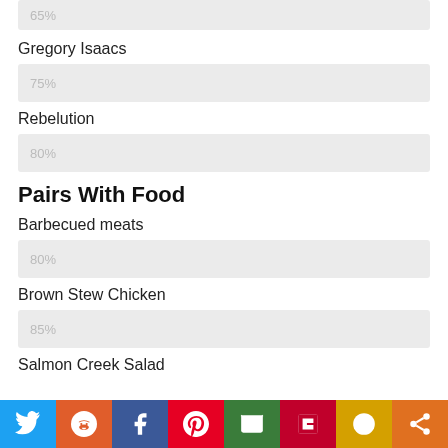[Figure (bar-chart): top partial bar (65%)]
Gregory Isaacs
[Figure (bar-chart): Gregory Isaacs bar]
Rebelution
[Figure (bar-chart): Rebelution bar]
Pairs With Food
Barbecued meats
[Figure (bar-chart): Barbecued meats bar]
Brown Stew Chicken
[Figure (bar-chart): Brown Stew Chicken bar]
Salmon Creek Salad
Twitter Reddit Facebook Pinterest Email Flipboard Mix Share